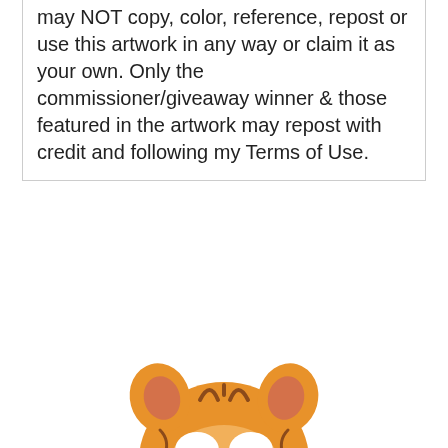may NOT copy, color, reference, repost or use this artwork in any way or claim it as your own. Only the commissioner/giveaway winner & those featured in the artwork may repost with credit and following my Terms of Use.
[Figure (illustration): A cute cartoon tiger/cat face peeking up from behind a colorful rainbow horizontal bar. The character has orange and brown striped fur, big closed happy eyes with white highlights, a pink nose, and small ears. Below the character is a multicolored horizontal stripe bar in rainbow colors (orange, yellow, green, teal, blue, pink, red, yellow, teal, etc.).]